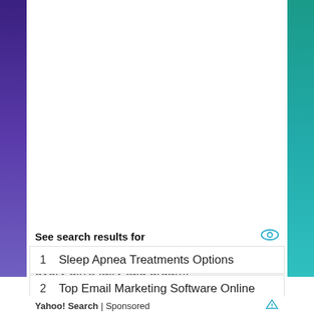– Dreamy Design – Our exclusive designed mermaid tail blanket, will satisfy every girl's fairy tale dream.
See search results for
1   Sleep Apnea Treatments Options
2   Top Email Marketing Software Online
Yahoo! Search | Sponsored